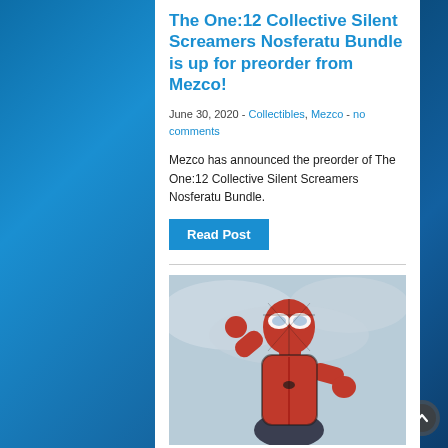The One:12 Collective Silent Screamers Nosferatu Bundle is up for preorder from Mezco!
June 30, 2020  -  Collectibles, Mezco  -  no comments
Mezco has announced the preorder of The One:12 Collective Silent Screamers Nosferatu Bundle.
Read Post
[Figure (photo): Spider-Man figure in red and black suit posed against a light blue/grey cloudy background]
A review of Mezco’s One:12 Collective Figure of the SPIDER